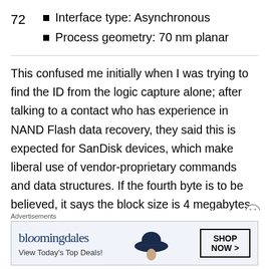72
Interface type: Asynchronous
Process geometry: 70 nm planar
This confused me initially when I was trying to find the ID from the logic capture alone; after talking to a contact who has experience in NAND Flash data recovery, they said this is expected for SanDisk devices, which make liberal use of vendor-proprietary commands and data structures. If the fourth byte is to be believed, it says the block size is 4 megabytes, which I think is plausible for a modern Flash device. The rest of the information doesn’t really make any sense to me apart from the first byte indicating the chip is
Advertisements
[Figure (other): Bloomingdale's advertisement with woman wearing wide-brim hat. Text: bloomingdales, View Today's Top Deals!, SHOP NOW >]